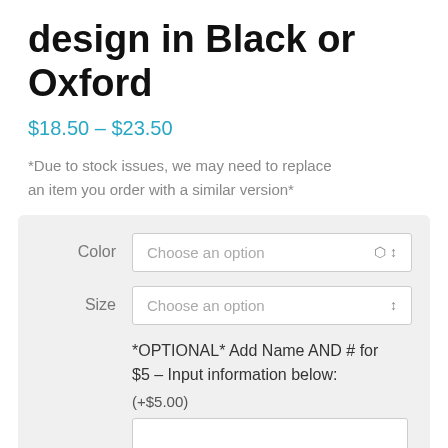design in Black or Oxford
$18.50 – $23.50
*Due to stock issues, we may need to replace an item you order with a similar version*
Color – Choose an option
Size – Choose an option
*OPTIONAL* Add Name AND # for $5 – Input information below: (+$5.00)